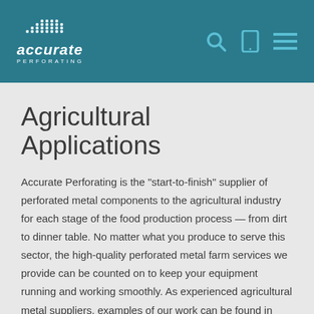accurate PERFORATING
Agricultural Applications
Accurate Perforating is the "start-to-finish" supplier of perforated metal components to the agricultural industry for each stage of the food production process — from dirt to dinner table. No matter what you produce to serve this sector, the high-quality perforated metal farm services we provide can be counted on to keep your equipment running and working smoothly. As experienced agricultural metal suppliers, examples of our work can be found in tractors, grain bins and supply chain equipment, among others.